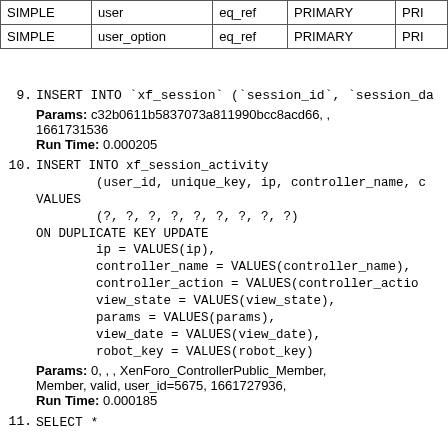|  | user_option | eq_ref | PRIMARY | PRI |
| --- | --- | --- | --- | --- |
| SIMPLE | user | eq_ref | PRIMARY | PRI |
| SIMPLE | user_option | eq_ref | PRIMARY | PRI |
9. INSERT INTO `xf_session` (`session_id`, `session_da...)
Params: c32b0611b5837073a811990bcc8acd66, , 1661731536
Run Time: 0.000205
10. INSERT INTO xf_session_activity
    (user_id, unique_key, ip, controller_name, c...
VALUES
    (?, ?, ?, ?, ?, ?, ?, ?, ?)
ON DUPLICATE KEY UPDATE
    ip = VALUES(ip),
    controller_name = VALUES(controller_name),
    controller_action = VALUES(controller_action),
    view_state = VALUES(view_state),
    params = VALUES(params),
    view_date = VALUES(view_date),
    robot_key = VALUES(robot_key)
Params: 0, , , XenForo_ControllerPublic_Member, Member, valid, user_id=5675, 1661727936,
Run Time: 0.000185
11. SELECT *